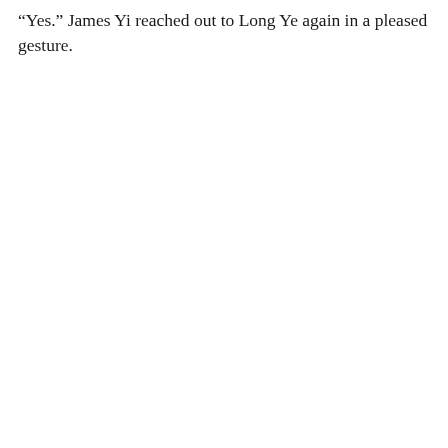“Yes.” James Yi reached out to Long Ye again in a pleased gesture.